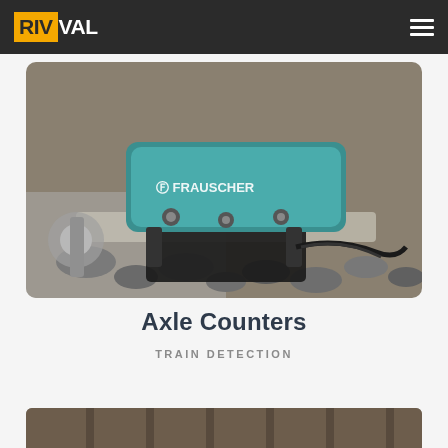RIVVAL
[Figure (photo): Close-up photo of a Frauscher axle counter sensor mounted on a railway rail, with ballast rocks visible. The sensor is a teal/blue-green colored device branded 'Frauscher'.]
Axle Counters
TRAIN DETECTION
[Figure (photo): Partial bottom image showing another railway-related photo, cropped at the bottom of the page.]